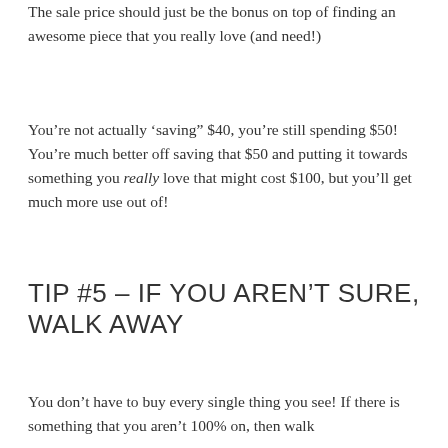The sale price should just be the bonus on top of finding an awesome piece that you really love (and need!)
You’re not actually ‘saving” $40, you’re still spending $50! You’re much better off saving that $50 and putting it towards something you really love that might cost $100, but you’ll get much more use out of!
TIP #5 – IF YOU AREN’T SURE, WALK AWAY
You don’t have to buy every single thing you see! If there is something that you aren’t 100% on, then walk